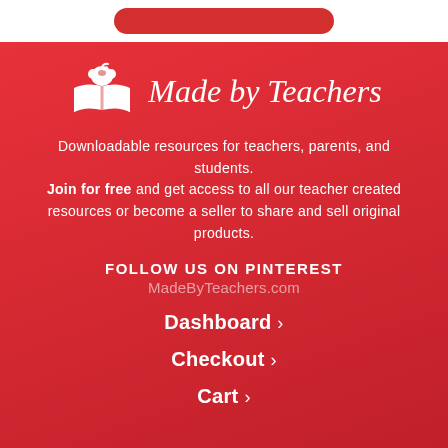[Figure (logo): Made by Teachers logo with apple and open book icon in white, with italic serif text 'Made by Teachers' in white on red background]
Downloadable resources for teachers, parents, and students. Join for free and get access to all our teacher created resources or become a seller to share and sell original products.
FOLLOW US ON PINTEREST
MadeByTeachers.com
Dashboard ›
Checkout ›
Cart ›